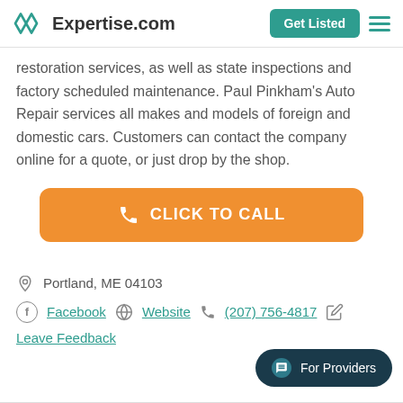Expertise.com | Get Listed
restoration services, as well as state inspections and factory scheduled maintenance. Paul Pinkham's Auto Repair services all makes and models of foreign and domestic cars. Customers can contact the company online for a quote, or just drop by the shop.
[Figure (other): Orange 'CLICK TO CALL' button with phone icon]
Portland, ME 04103
Facebook | Website | (207) 756-4817
Leave Feedback
[Figure (other): Dark teal 'For Providers' chat button in bottom right corner]